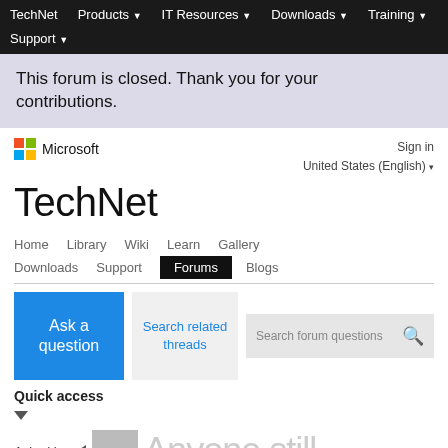TechNet  Products ▼  IT Resources ▼  Downloads ▼  Training ▼  Support ▼
This forum is closed. Thank you for your contributions.
[Figure (logo): Microsoft colorful four-square logo with 'Microsoft' text]
Sign in
United States (English) ▾
TechNet
Home  Library  Wiki  Learn  Gallery  Downloads  Support  Forums  Blogs
Ask a question
Search related threads
Search forum questions
Quick access
Asked by:  Anyone still